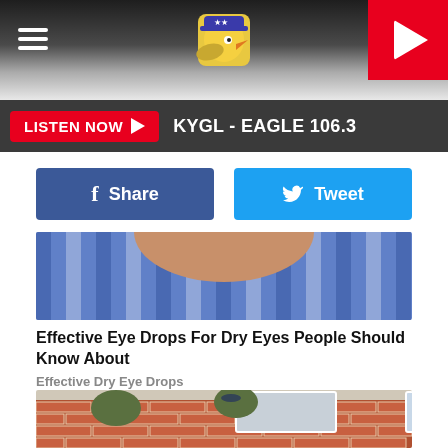KYGL - EAGLE 106.3 navigation header with hamburger menu, logo, and play button
LISTEN NOW ▶  KYGL - EAGLE 106.3
f Share
Tweet
[Figure (photo): Close-up photo of person's neck/shoulder area wearing a striped shirt]
Effective Eye Drops For Dry Eyes People Should Know About
Effective Dry Eye Drops
[Figure (photo): Photo of two workers doing masonry/bricklaying work on the exterior of a brick building with windows visible]